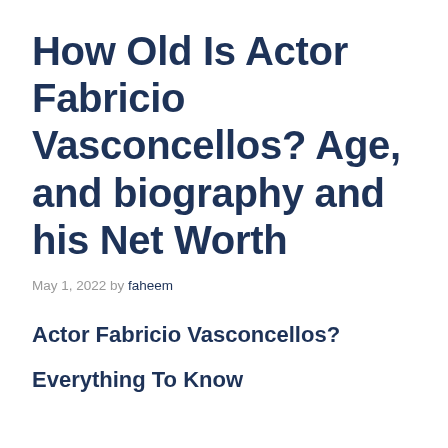How Old Is Actor Fabricio Vasconcellos? Age, and biography and his Net Worth
May 1, 2022 by faheem
Actor Fabricio Vasconcellos?
Everything To Know